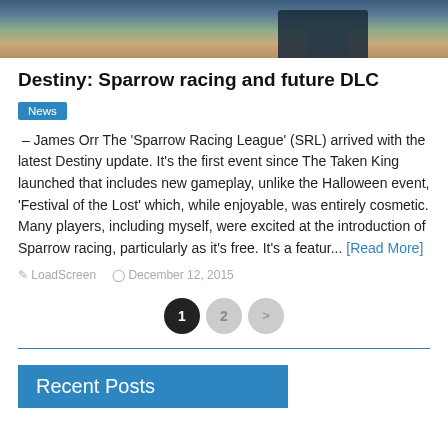[Figure (photo): Top portion of a gaming screenshot showing a character or vehicle in a desert/rocky environment]
Destiny: Sparrow racing and future DLC
News
– James Orr The 'Sparrow Racing League' (SRL) arrived with the latest Destiny update. It's the first event since The Taken King launched that includes new gameplay, unlike the Halloween event, 'Festival of the Lost' which, while enjoyable, was entirely cosmetic. Many players, including myself, were excited at the introduction of Sparrow racing, particularly as it's free. It's a featur... [Read More]
LoadScreen   December 12, 2015
1 2 >
Recent Posts